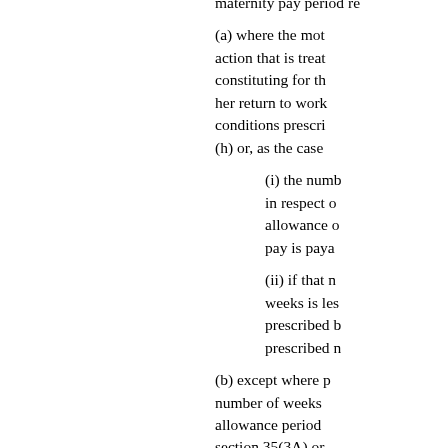maternity pay period re
(a) where the mot action that is treat constituting for th her return to work conditions prescri (h) or, as the case
(i) the numb in respect o allowance o pay is paya
(ii) if that n weeks is les prescribed b prescribed n
(b) except where p number of weeks allowance period section 35(3A) or maternity pay per section 165(3A).